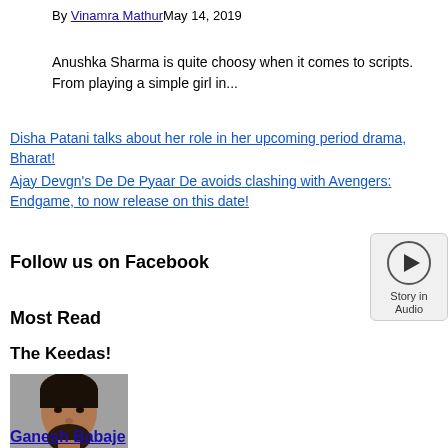By Vinamra MathurMay 14, 2019
Anushka Sharma is quite choosy when it comes to scripts. From playing a simple girl in...
Disha Patani talks about her role in her upcoming period drama, Bharat!
Ajay Devgn's De De Pyaar De avoids clashing with Avengers: Endgame, to now release on this date!
Follow us on Facebook
[Figure (other): Story in Audio play button widget]
Most Read
The Keedas!
[Figure (photo): Portrait photo of a young man with dark hair and beard]
Ganesh Babaje